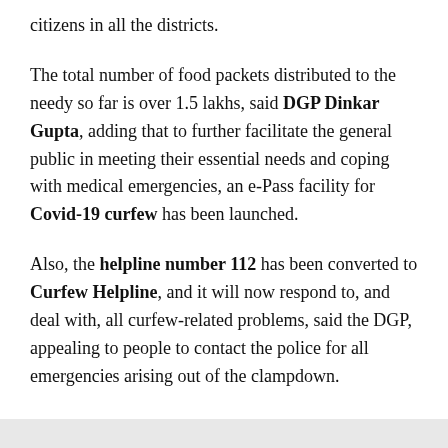citizens in all the districts.
The total number of food packets distributed to the needy so far is over 1.5 lakhs, said DGP Dinkar Gupta, adding that to further facilitate the general public in meeting their essential needs and coping with medical emergencies, an e-Pass facility for Covid-19 curfew has been launched.
Also, the helpline number 112 has been converted to Curfew Helpline, and it will now respond to, and deal with, all curfew-related problems, said the DGP, appealing to people to contact the police for all emergencies arising out of the clampdown.